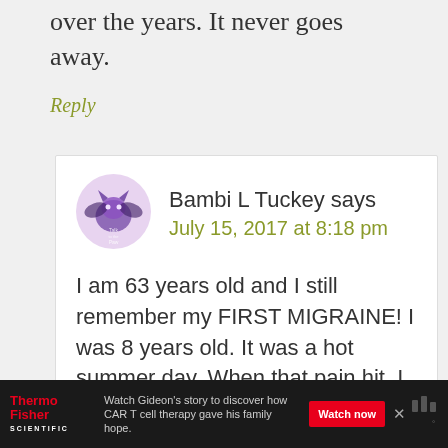over the years. It never goes away.
Reply
Bambi L Tuckey says
July 15, 2017 at 8:18 pm
I am 63 years old and I still remember my FIRST MIGRAINE! I was 8 years old. It was a hot summer day. When that pain hit, I truly was afraid I was
[Figure (logo): ThermoFisher Scientific logo in red and white on dark background]
Watch Gideon's story to discover how CAR T cell therapy gave his family hope.
Watch now